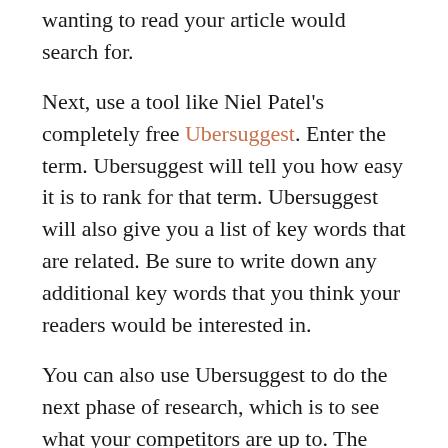wanting to read your article would search for.
Next, use a tool like Niel Patel's completely free Ubersuggest. Enter the term. Ubersuggest will tell you how easy it is to rank for that term. Ubersuggest will also give you a list of key words that are related. Be sure to write down any additional key words that you think your readers would be interested in.
You can also use Ubersuggest to do the next phase of research, which is to see what your competitors are up to. The SERP report will show you the results for the key word you have answered. Take a look at them, and make sure your content is better than what you are reading.
Now, sprinkle these key words you have come up